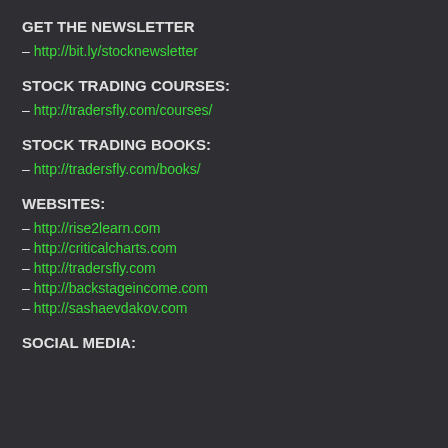GET THE NEWSLETTER
– http://bit.ly/stocknewsletter
STOCK TRADING COURSES:
– http://tradersfly.com/courses/
STOCK TRADING BOOKS:
– http://tradersfly.com/books/
WEBSITES:
– http://rise2learn.com
– http://criticalcharts.com
– http://tradersfly.com
– http://backstageincome.com
– http://sashaevdakov.com
SOCIAL MEDIA: